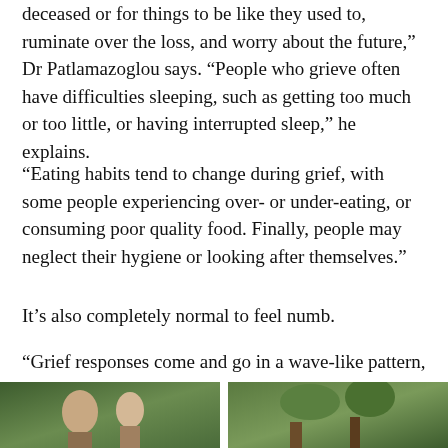deceased or for things to be like they used to, ruminate over the loss, and worry about the future," Dr Patlamazoglou says. “People who grieve often have difficulties sleeping, such as getting too much or too little, or having interrupted sleep,” he explains.
“Eating habits tend to change during grief, with some people experiencing over- or under-eating, or consuming poor quality food. Finally, people may neglect their hygiene or looking after themselves.”
It’s also completely normal to feel numb.
“Grief responses come and go in a wave-like pattern, as the intensity of grief fluctuates,” Dr Patlamazoglou adds. “Over time, however, the waves of grief became easier to manage.”
[Figure (photo): Two photos side by side at the bottom of the page showing people outdoors]